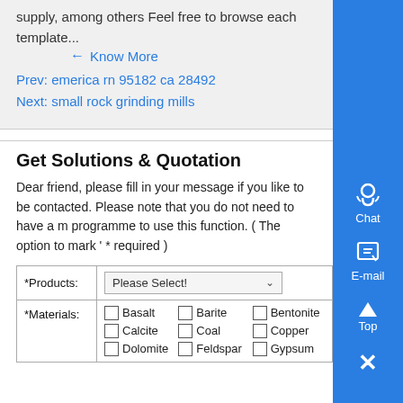supply, among others Feel free to browse each template...
← Know More
Prev: emerica rn 95182 ca 28492
Next: small rock grinding mills
Get Solutions & Quotation
Dear friend, please fill in your message if you like to be contacted. Please note that you do not need to have a mail programme to use this function. ( The option to mark ' * ' is required )
| *Products: | Please Select! |
| --- | --- |
| *Materials: | Basalt, Barite, Bentonite, Calcite, Coal, Copper, Dolomite, Feldspar, Gypsum |